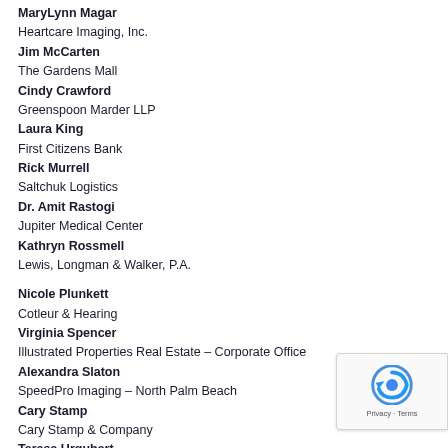MaryLynn Magar
Heartcare Imaging, Inc.
Jim McCarten
The Gardens Mall
Cindy Crawford
Greenspoon Marder LLP
Laura King
First Citizens Bank
Rick Murrell
Saltchuk Logistics
Dr. Amit Rastogi
Jupiter Medical Center
Kathryn Rossmell
Lewis, Longman & Walker, P.A.
Nicole Plunkett
Cotleur & Hearing
Virginia Spencer
Illustrated Properties Real Estate – Corporate Office
Alexandra Slaton
SpeedPro Imaging – North Palm Beach
Cary Stamp
Cary Stamp & Company
Teresa Urquhart
Palm Beach Gardens Medical Center
Carlos Vidueira
Rybovich
Caroline Villanueva
Florida Crystals Corporation